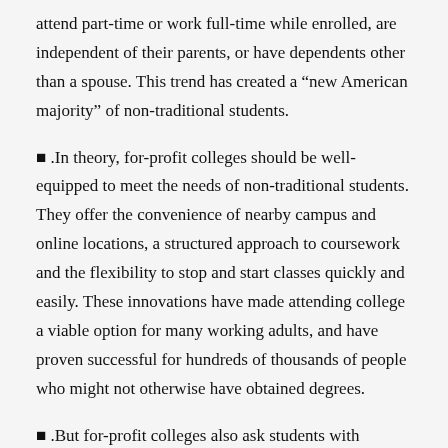attend part-time or work full-time while enrolled, are independent of their parents, or have dependents other than a spouse. This trend has created a “new American majority” of non-traditional students.
■ .In theory, for-profit colleges should be well-equipped to meet the needs of non-traditional students. They offer the convenience of nearby campus and online locations, a structured approach to coursework and the flexibility to stop and start classes quickly and easily. These innovations have made attending college a viable option for many working adults, and have proven successful for hundreds of thousands of people who might not otherwise have obtained degrees.
■ .But for-profit colleges also ask students with modest financial resources to take a big risk by enrolling in high-tuition schools. As a result of high tuition, students must take on significant student loan debt to attend school. When students withdraw, as hundreds of